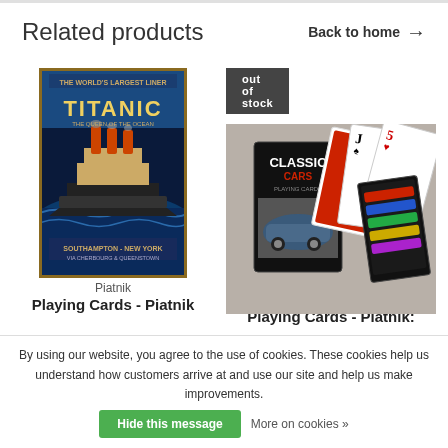Related products
Back to home →
[Figure (photo): Titanic playing card book cover - blue ocean scene with ship, text 'The World's Largest Liner TITANIC The Queen of the Ocean Southampton - New York']
Piatnik
Playing Cards - Piatnik
[Figure (photo): Classic Cars playing cards product photo showing multiple card decks fanned out with car imagery]
out of stock
Piatnik
Playing Cards - Piatnik:
By using our website, you agree to the use of cookies. These cookies help us understand how customers arrive at and use our site and help us make improvements.
Hide this message
More on cookies »